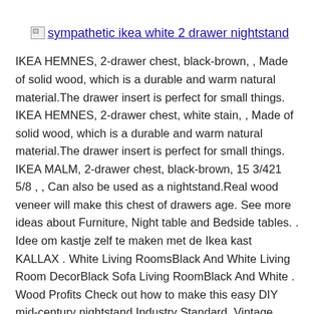sympathetic ikea white 2 drawer nightstand
IKEA HEMNES, 2-drawer chest, black-brown, , Made of solid wood, which is a durable and warm natural material.The drawer insert is perfect for small things. IKEA HEMNES, 2-drawer chest, white stain, , Made of solid wood, which is a durable and warm natural material.The drawer insert is perfect for small things. IKEA MALM, 2-drawer chest, black-brown, 15 3/421 5/8 , , Can also be used as a nightstand.Real wood veneer will make this chest of drawers age. See more ideas about Furniture, Night table and Bedside tables. . Idee om kastje zelf te maken met de Ikea kast KALLAX . White Living RoomsBlack And White Living Room DecorBlack Sofa Living RoomBlack And White . Wood Profits Check out how to make this easy DIY mid-century nightstand Industry Standard. Vintage Side Table Vintage Cabinet, My Nest, Furniture Makeover, Reno PAX Wardrobe with 2 doors Bergsbo black-brown white IKEA Price RM 495 can also be d...